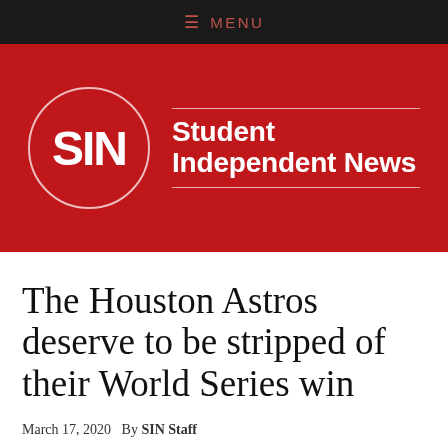≡ MENU
[Figure (logo): Student Independent News (SIN) logo — white circle with 'SIN' text on red background, beside 'Student Independent News' in white bold sans-serif on red banner]
The Houston Astros deserve to be stripped of their World Series win
March 17, 2020  By SIN Staff